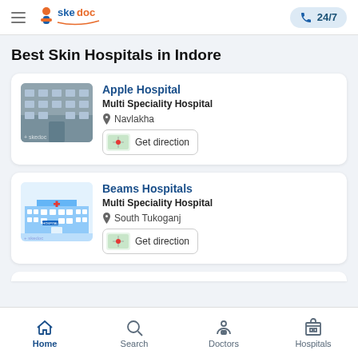skedoc — 24/7
Best Skin Hospitals in Indore
Apple Hospital — Multi Speciality Hospital — Navlakha — Get direction
Beams Hospitals — Multi Speciality Hospital — South Tukoganj — Get direction
Home | Search | Doctors | Hospitals